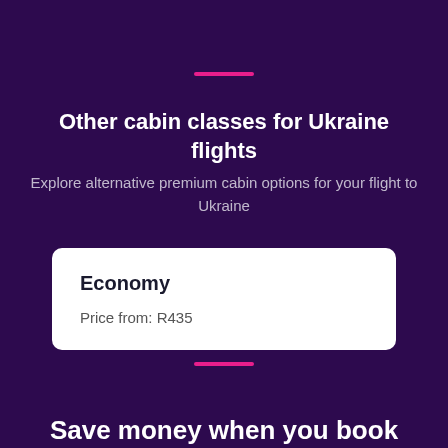Other cabin classes for Ukraine flights
Explore alternative premium cabin options for your flight to Ukraine
| Economy | Price from: R435 |
| --- | --- |
Save money when you book